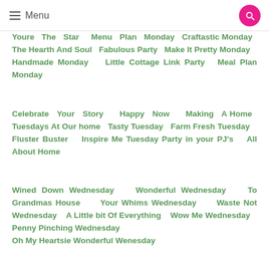≡ Menu
Youre The Star   Menu Plan Monday  Craftastic Monday  The Hearth And Soul  Fabulous Party  Make It Pretty Monday   Handmade Monday   Little Cottage Link Party  Meal Plan Monday
Celebrate Your Story     Happy Now     Making A Home  Tuesdays At Our home  Tasty Tuesday  Farm Fresh Tuesday   Fluster Buster  Inspire Me Tuesday  Party in your PJ's  All About Home
Wined Down Wednesday   Wonderful Wednesday   To Grandmas House    Your Whims Wednesday    Waste Not Wednesday   A Little bit Of Everything  Wow Me Wednesday  Penny Pinching Wednesday  Oh My Heartsie Wonderful Wenesday